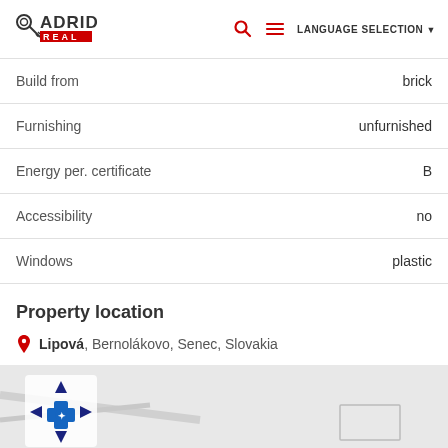ADRID REAL — LANGUAGE SELECTION
| Property | Value |
| --- | --- |
| Build from | brick |
| Furnishing | unfurnished |
| Energy per. certificate | B |
| Accessibility | no |
| Windows | plastic |
Property location
Lipová, Bernolákovo, Senec, Slovakia
[Figure (map): Map showing location in Bernolákovo, Senec, Slovakia with navigation control arrows]